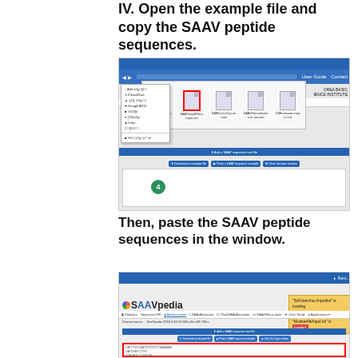IV. Open the example file and copy the SAAV peptide sequences.
[Figure (screenshot): Screenshot of SAAvpedia web interface showing file browser with selected example file and download/paste options]
Then, paste the SAAV peptide sequences in the window.
[Figure (screenshot): Screenshot of SAAvpedia web interface showing pasted SAAV peptide sequences in the input window with a yellow notification popup]